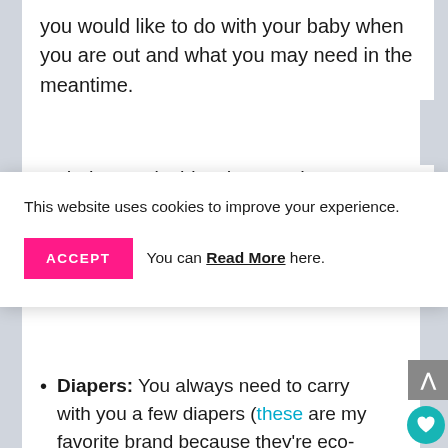you would like to do with your baby when you are out and what you may need in the meantime.
To help you decide what are the essentials
This website uses cookies to improve your experience.
ACCEPT  You can Read More here.
Diapers: You always need to carry with you a few diapers (these are my favorite brand because they're eco-friendly). In the case of a newborn, the best is to calculate at least one diaper for every 2 hours while